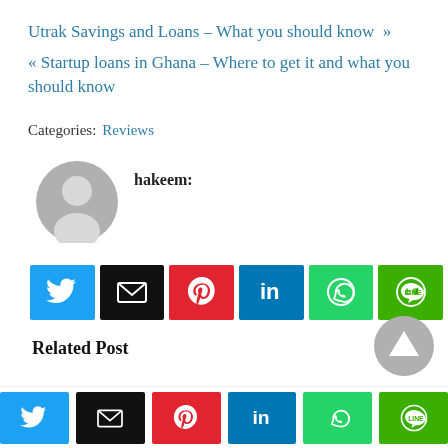Utrak Savings and Loans – What you should know »
« Startup loans in Ghana – Where to get it and what you should know
Categories: Reviews
hakeem:
[Figure (infographic): Social share buttons row: Twitter (blue), Email (black), Pinterest (red), LinkedIn (blue), WhatsApp (green), LINE (green)]
Related Post
[Figure (infographic): Bottom bar social share buttons: Twitter (blue), Email (black), Pinterest (red), LinkedIn (blue), WhatsApp (green), LINE (green)]